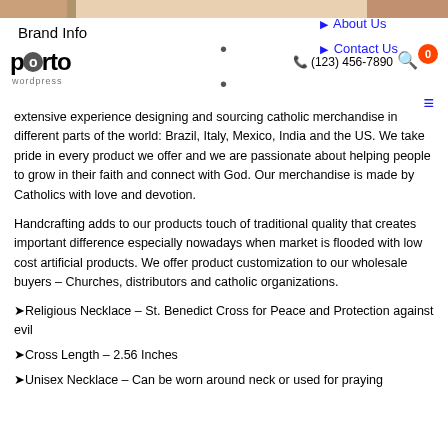[Figure (photo): Header banner image with product photos (rosary/jewelry items)]
Brand Info
[Figure (logo): Porto WordPress logo in black and grey]
▸ About Us
▸ Contact Us
☎ (123) 456-7890
extensive experience designing and sourcing catholic merchandise in different parts of the world: Brazil, Italy, Mexico, India and the US. We take pride in every product we offer and we are passionate about helping people to grow in their faith and connect with God. Our merchandise is made by Catholics with love and devotion.
Handcrafting adds to our products touch of traditional quality that creates important difference especially nowadays when market is flooded with low cost artificial products. We offer product customization to our wholesale buyers – Churches, distributors and catholic organizations.
➤Religious Necklace – St. Benedict Cross for Peace and Protection against evil
➤Cross Length – 2.56 Inches
➤Unisex Necklace – Can be worn around neck or used for praying